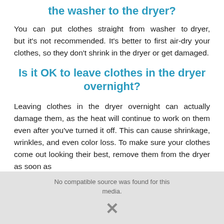the washer to the dryer?
You can put clothes straight from washer to dryer, but it's not recommended. It's better to first air-dry your clothes, so they don't shrink in the dryer or get damaged.
Is it OK to leave clothes in the dryer overnight?
Leaving clothes in the dryer overnight can actually damage them, as the heat will continue to work on them even after you've turned it off. This can cause shrinkage, wrinkles, and even color loss. To make sure your clothes come out looking their best, remove them from the dryer as soon as
[Figure (other): Video player overlay with 'No compatible source was found for this media' message and close X button]